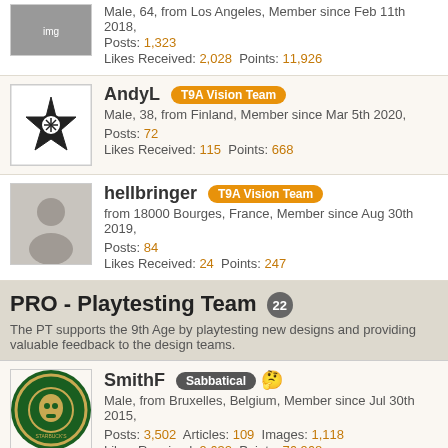[Figure (photo): Partial avatar image at top, cut off]
Male, 64, from Los Angeles, Member since Feb 11th 2018,
Posts: 1,323
Likes Received: 2,028  Points: 11,926
[Figure (photo): Avatar with star/sun symbol icon for AndyL]
AndyL T9A Vision Team
Male, 38, from Finland, Member since Mar 5th 2020,
Posts: 72
Likes Received: 115  Points: 668
[Figure (photo): Generic placeholder avatar silhouette for hellbringer]
hellbringer T9A Vision Team
from 18000 Bourges, France, Member since Aug 30th 2019,
Posts: 84
Likes Received: 24  Points: 247
PRO - Playtesting Team 22
The PT supports the 9th Age by playtesting new designs and providing valuable feedback to the design teams.
[Figure (logo): Starbucks-style circular logo avatar for SmithF]
SmithF Sabbatical
Male, from Bruxelles, Belgium, Member since Jul 30th 2015,
Posts: 3,502  Articles: 109  Images: 1,118
Likes Received: 9,632  Points: 76,968
[Figure (photo): Avatar image of knight/warrior for Ludaman]
Ludaman Assistant Head of Playtesting
Male, 38, from Pasadena, CA 91103, Member since Sep 28th 2015,
Posts: 3,725  Images: 26